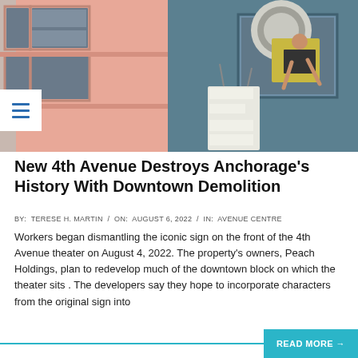[Figure (photo): A worker in a yellow high-visibility vest leans out of a window on a teal/blue building, working on dismantling a large letter 'E' sign. Adjacent is a pink/salmon-colored building with dark-framed windows.]
New 4th Avenue Destroys Anchorage's History With Downtown Demolition
BY:  TERESE H. MARTIN  /  ON:  AUGUST 6, 2022  /  IN:  AVENUE CENTRE
Workers began dismantling the iconic sign on the front of the 4th Avenue theater on August 4, 2022. The property's owners, Peach Holdings, plan to redevelop much of the downtown block on which the theater sits . The developers say they hope to incorporate characters from the original sign into